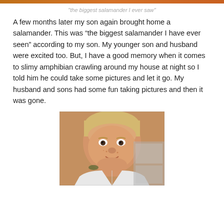[Figure (photo): Top partial image bar showing a brown/orange salamander or similar, cropped to just a strip at the top of the page]
"the biggest salamander I ever saw"
A few months later my son again brought home a salamander.  This was “the biggest salamander I have ever seen” according to my son.  My younger son and husband were excited too.  But, I have a good memory when it comes to slimy amphibian crawling around my house at night so I told him he could take some pictures and let it go.  My husband and sons had some fun taking pictures and then it was gone.
[Figure (photo): Photo of a young blond boy looking at the camera, wearing a white shirt, holding something small, indoor setting]